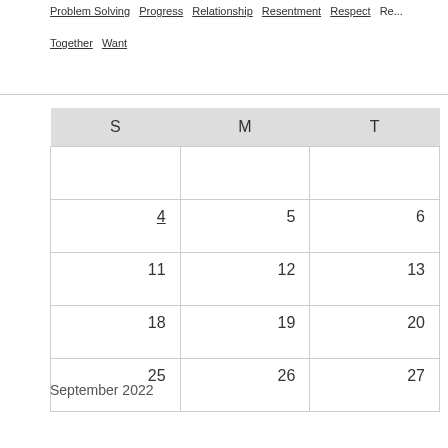Problem Solving  Progress  Relationship  Resentment  Respect  Re...
Together  Want
| S | M | T |
| --- | --- | --- |
|  |  |  |
| 4 | 5 | 6 |
| 11 | 12 | 13 |
| 18 | 19 | 20 |
| 25 | 26 | 27 |
September 2022